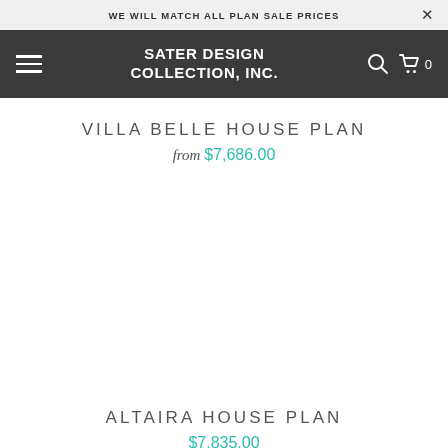WE WILL MATCH ALL PLAN SALE PRICES
SATER DESIGN COLLECTION, INC.
VILLA BELLE HOUSE PLAN
from $7,686.00
ALTAIRA HOUSE PLAN
$7,835.00